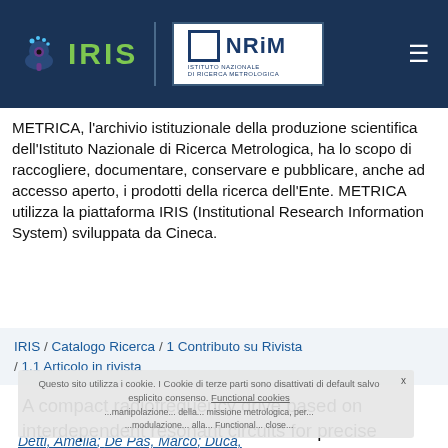[Figure (logo): IRIS and INRiM logos on dark blue header bar]
METRICA, l'archivio istituzionale della produzione scientifica dell'Istituto Nazionale di Ricerca Metrologica, ha lo scopo di raccogliere, documentare, conservare e pubblicare, anche ad accesso aperto, i prodotti della ricerca dell'Ente. METRICA utilizza la piattaforma IRIS (Institutional Research Information System) sviluppata da Cineca.
IRIS / Catalogo Ricerca / 1 Contributo su Rivista / 1.1 Articolo in rivista
Questo sito utilizza i cookie. I Cookie di terze parti sono disattivati di default salvo esplicito consenso. Functional cookies ...
A compact radiofrequency drive based on interdependent resonant circuits for precise control of ion traps
Detti, Amelia; De Pas, Marco; Duca,